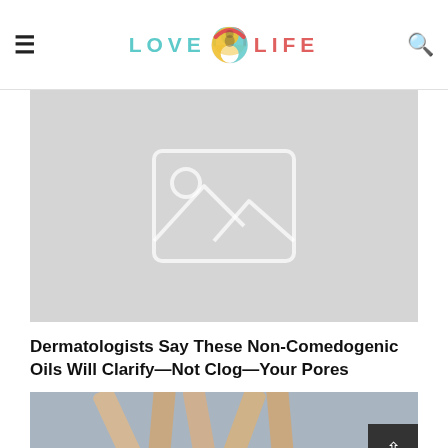LOVE LIFE
[Figure (photo): Placeholder image with grey background and image icon]
Dermatologists Say These Non-Comedogenic Oils Will Clarify—Not Clog—Your Pores
[Figure (photo): Photo of wooden spoons/sticks on a blue background, partially visible]